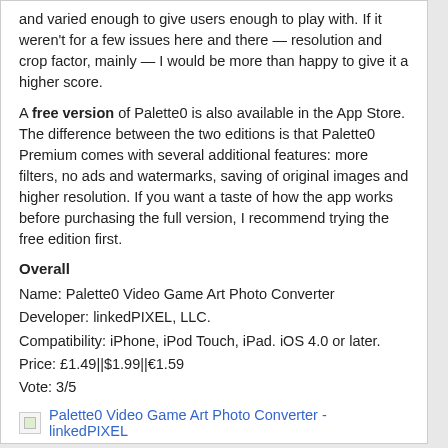and varied enough to give users enough to play with. If it weren't for a few issues here and there — resolution and crop factor, mainly — I would be more than happy to give it a higher score.
A free version of Palette0 is also available in the App Store. The difference between the two editions is that Palette0 Premium comes with several additional features: more filters, no ads and watermarks, saving of original images and higher resolution. If you want a taste of how the app works before purchasing the full version, I recommend trying the free edition first.
Overall
Name: Palette0 Video Game Art Photo Converter
Developer: linkedPIXEL, LLC.
Compatibility: iPhone, iPod Touch, iPad. iOS 4.0 or later.
Price: £1.49||$1.99||€1.59
Vote: 3/5
[Figure (other): Broken image thumbnail linking to Palette0 Video Game Art Photo Converter - linkedPIXEL]
Related posts:
Price Drop for Palette0 Premium Video Game Art Photo Converter